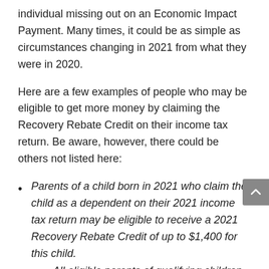individual missing out on an Economic Impact Payment. Many times, it could be as simple as circumstances changing in 2021 from what they were in 2020.
Here are a few examples of people who may be eligible to get more money by claiming the Recovery Rebate Credit on their income tax return. Be aware, however, there could be others not listed here:
Parents of a child born in 2021 who claim the child as a dependent on their 2021 income tax return may be eligible to receive a 2021 Recovery Rebate Credit of up to $1,400 for this child.
All eligible parents of qualifying children born or welcomed through adoption or foster care in 2021 are also encouraged to claim the child tax credit – worth up to $3,600 per child born in 2021 – on